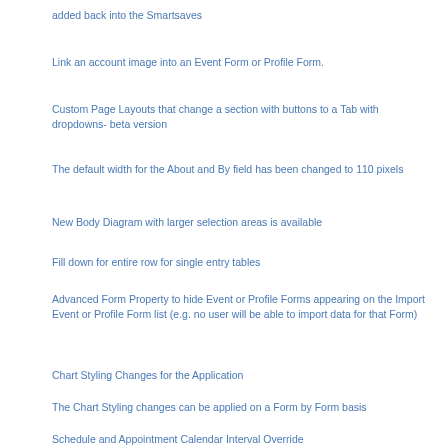added back into the Smartsaves
Link an account image into an Event Form or Profile Form.
Custom Page Layouts that change a section with buttons to a Tab with dropdowns- beta version
The default width for the About and By field has been changed to 110 pixels
New Body Diagram with larger selection areas is available
Fill down for entire row for single entry tables
Advanced Form Property to hide Event or Profile Forms appearing on the Import Event or Profile Form list (e.g. no user will be able to import data for that Form)
Chart Styling Changes for the Application
The Chart Styling changes can be applied on a Form by Form basis
Schedule and Appointment Calendar Interval Override